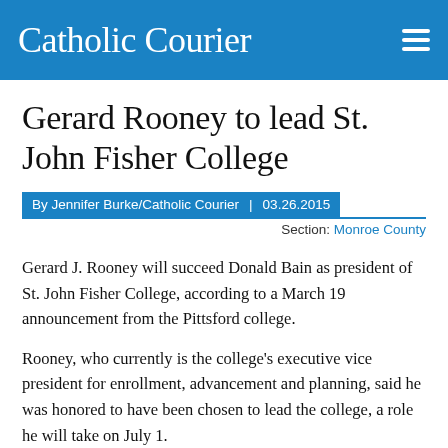Catholic Courier
Gerard Rooney to lead St. John Fisher College
By Jennifer Burke/Catholic Courier  |  03.26.2015
Section: Monroe County
Gerard J. Rooney will succeed Donald Bain as president of St. John Fisher College, according to a March 19 announcement from the Pittsford college.
Rooney, who currently is the college's executive vice president for enrollment, advancement and planning, said he was honored to have been chosen to lead the college, a role he will take on July 1.